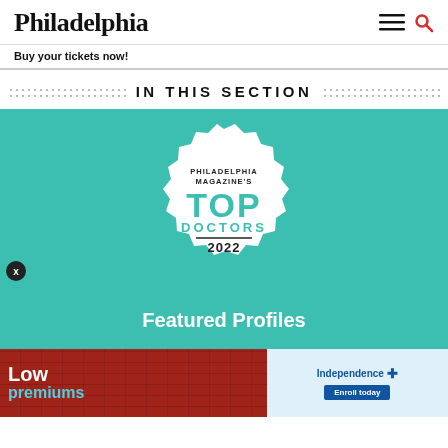Philadelphia
Buy your tickets now!
IN THIS SECTION
[Figure (illustration): Philadelphia Magazine's Top Doctors 2022 badge on teal background with 'Featured Profiles' text below]
[Figure (photo): Advertisement: Low premiums / Independence Blue Cross - Enroll today]